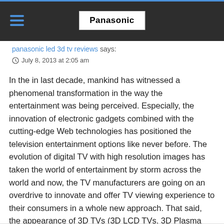Panasonic
panasonic led 3d tv reviews says:
July 8, 2013 at 2:05 am
In the in last decade, mankind has witnessed a phenomenal transformation in the way the entertainment was being perceived. Especially, the innovation of electronic gadgets combined with the cutting-edge Web technologies has positioned the television entertainment options like never before. The evolution of digital TV with high resolution images has taken the world of entertainment by storm across the world and now, the TV manufacturers are going on an overdrive to innovate and offer TV viewing experience to their consumers in a whole new approach. That said, the appearance of 3D TVs (3D LCD TVs, 3D Plasma TVs and 3D LED TVs) have been the object of desire across all tech-savvy consumers regardless of their shocking price tags.